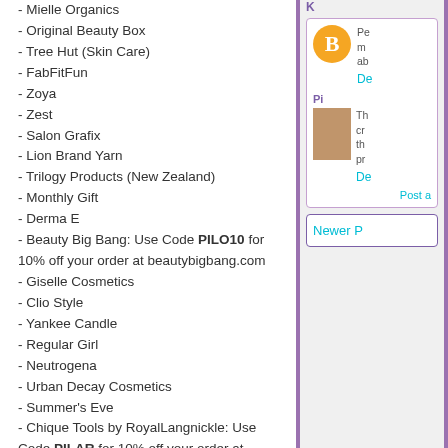- Mielle Organics
- Original Beauty Box
- Tree Hut (Skin Care)
- FabFitFun
- Zoya
- Zest
- Salon Grafix
- Lion Brand Yarn
- Trilogy Products (New Zealand)
- Monthly Gift
- Derma E
- Beauty Big Bang: Use Code PILO10 for 10% off your order at beautybigbang.com
- Giselle Cosmetics
- Clio Style
- Yankee Candle
- Regular Girl
- Neutrogena
- Urban Decay Cosmetics
- Summer's Eve
- Chique Tools by RoyalLangnickle: Use Code PILAR for 10% off your order at https://beautyusa.royalbrush.com
- Goose Creek Candle
- Smart Spa
- Qtica
- CVS Beauty
- Stoney Clover Lane
K
Pe mo ab
De
Pi
Th cr th pr
De
Post a
Newer P